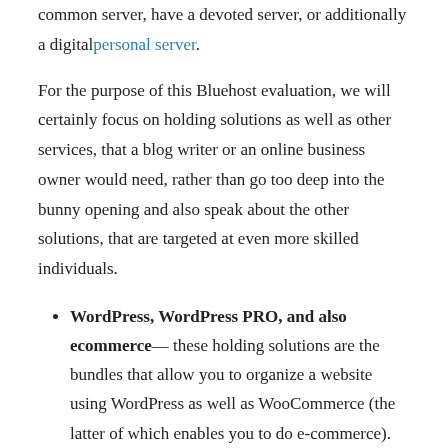common server, have a devoted server, or additionally a digitalpersonal server.
For the purpose of this Bluehost evaluation, we will certainly focus on holding solutions as well as other services, that a blog writer or an online business owner would need, rather than go too deep into the bunny opening and also speak about the other solutions, that are targeted at even more skilled individuals.
WordPress, WordPress PRO, and also ecommerce— these holding solutions are the bundles that allow you to organize a website using WordPress as well as WooCommerce (the latter of which enables you to do e-commerce). After buying any of these plans, you can start constructing your web site with WordPress as your CMS.
Domain Industry— you can additionally acquire your domain name from Bluehost instead of other domain name registrars. Doing so will make it less complicated to point